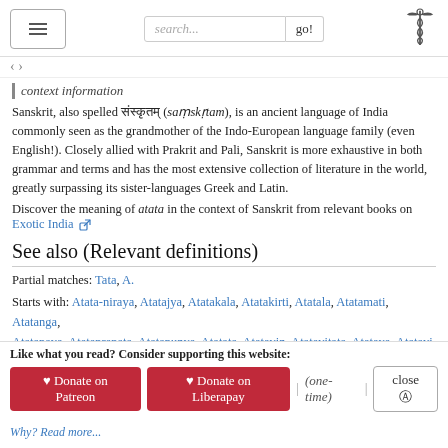search... go!
context information
Sanskrit, also spelled संस्कृतम् (saṃskṛtam), is an ancient language of India commonly seen as the grandmother of the Indo-European language family (even English!). Closely allied with Prakrit and Pali, Sanskrit is more exhaustive in both grammar and terms and has the most extensive collection of literature in the world, greatly surpassing its sister-languages Greek and Latin.
Discover the meaning of atata in the context of Sanskrit from relevant books on Exotic India
See also (Relevant definitions)
Partial matches: Tata, A.
Starts with: Atata-niraya, Atatajya, Atatakala, Atatakirti, Atatala, Atatamati, Atatanga, Atatapaya, Atataprapata, Atatapunya, Atatata, Atatavin, Atatavitata, Atataya, Atatayi, Atatayin, Atatayita, Atatayitana.
Ends with (+77): Abhijatata, Abhimatata, Adhanantale-radatata, Ahatata, Amilatata,
Like what you read? Consider supporting this website:
Why? Read more...